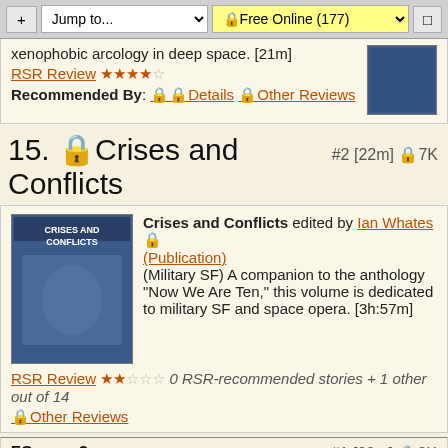+ Jump to... | 🔒Free Online (177) | [icon]
xenophobic arcology in deep space. [21m]
RSR Review ★★★★☆
Recommended By: 🔒🔒Details 🔒Other Reviews
15. 🔒Crises and Conflicts   #2 [22m] 🔒7K
Crises and Conflicts edited by Ian Whates 🔒 (Publication)
(Military SF) A companion to the anthology "Now We Are Ten," this volume is dedicated to military SF and space opera. [3h:57m]
RSR Review ★★☆☆☆ 0 RSR-recommended stories + 1 other out of 14
🔒Other Reviews
ΣScore: 3   #1 [09m] 🔒3K
🔒 ▾ Between Nine and Eleven by Adam Roberts 🔒 (Publication)
(Military SF) The war against the alien Trefoil was going well until they unleashed an unexpected weapon. [09m]
RSR Review ★★☆☆☆
Recommended By: 🔒🔒Details 🔒Other Reviews